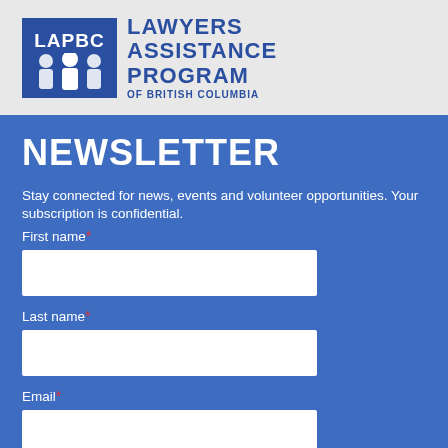[Figure (logo): LAPBC Lawyers Assistance Program of British Columbia logo — blue square with white silhouettes of three figures and LAPBC text, beside blue text reading LAWYERS ASSISTANCE PROGRAM OF BRITISH COLUMBIA]
NEWSLETTER
Stay connected for news, events and volunteer opportunities. Your subscription is confidential.
First name*
Last name*
Email*